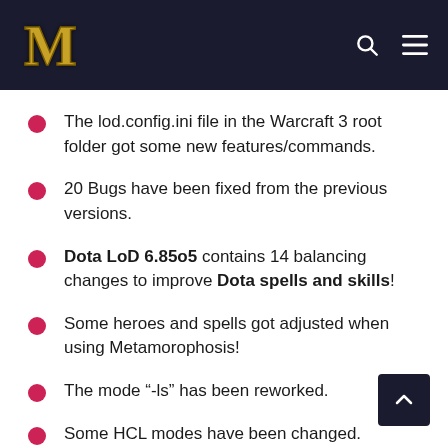WoW logo, search icon, menu icon
The lod.config.ini file in the Warcraft 3 root folder got some new features/commands.
20 Bugs have been fixed from the previous versions.
Dota LoD 6.85o5 contains 14 balancing changes to improve Dota spells and skills!
Some heroes and spells got adjusted when using Metamorophosis!
The mode "-ls" has been reworked.
Some HCL modes have been changed.